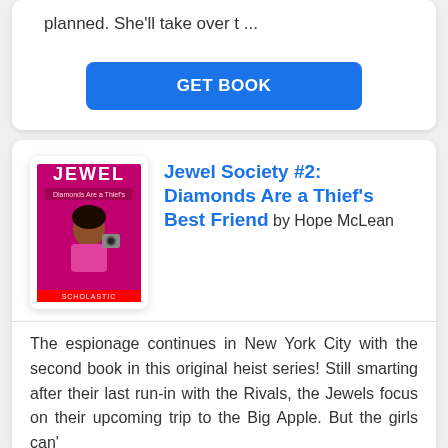planned. She'll take over t ...
GET BOOK
Jewel Society #2: Diamonds Are a Thief's Best Friend by Hope McLean
The espionage continues in New York City with the second book in this original heist series! Still smarting after their last run-in with the Rivals, the Jewels focus on their upcoming trip to the Big Apple. But the girls can'